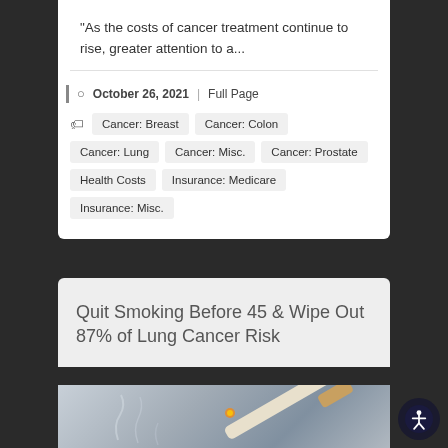"As the costs of cancer treatment continue to rise, greater attention to a...
October 26, 2021 | Full Page
Cancer: Breast
Cancer: Colon
Cancer: Lung
Cancer: Misc.
Cancer: Prostate
Health Costs
Insurance: Medicare
Insurance: Misc.
Quit Smoking Before 45 & Wipe Out 87% of Lung Cancer Risk
[Figure (photo): Photo of a cigarette with smoke against a grey/blue background]